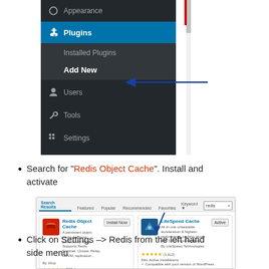[Figure (screenshot): WordPress admin sidebar menu showing Appearance, Plugins (active/highlighted in blue), with submenu showing Installed Plugins and Add New (bold, with blue arrow annotation pointing to it), and below: Users, Tools, Settings, WP-Optimize. A blue arrow annotation points to 'Add New'.]
Search for "Redis Object Cache". Install and activate
[Figure (screenshot): WordPress plugin search results page showing 'Redis Object Cache' plugin with Install Now button (arrow pointing to it) and 'LiteSpeed Cache' plugin on the right. Both show star ratings and compatibility info.]
Click on Settings -> Redis from the left hand side menu